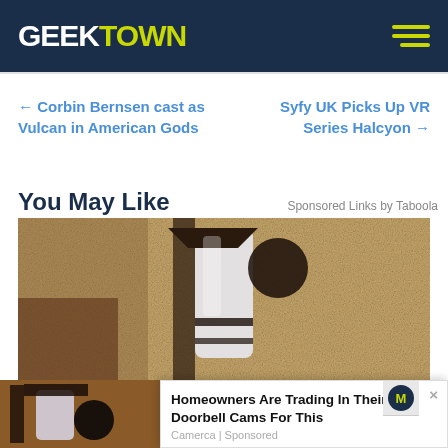GEEKTOWN
← Corbin Bernsen cast as Vulcan in American Gods
Syfy UK Picks Up VR Series Halcyon →
You May Like
Sponsored Links by Taboola
[Figure (photo): Outdoor wall lamp/lantern mounted on a textured stucco wall, dark metal frame with glass enclosure]
Homeowners Are Trading In Their Doorbell Cams For This
Camerca | Sponsored